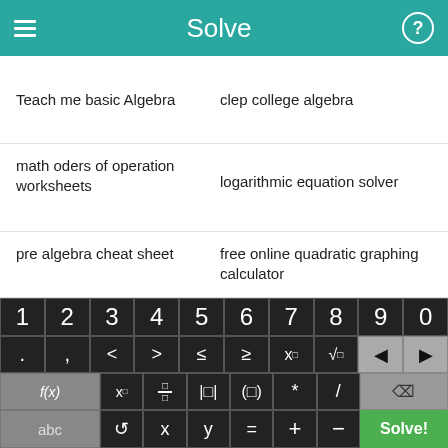Solve
Teach me basic Algebra
clep college algebra
math oders of operation worksheets
logarithmic equation solver
pre algebra cheat sheet
free online quadratic graphing calculator
[Figure (screenshot): Calculator keyboard with numeric keys 1-9,0, symbol keys including . , < > ≤ ≥ x^□ √□ and arrow keys, function keys f(x) x□ fraction absolute-value grouping * / delete, and bottom row with abc rotate x y = + - and Solve! button in green]